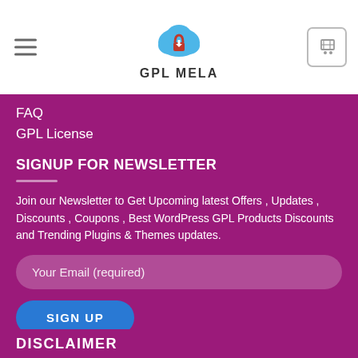[Figure (logo): GPL Mela logo with cloud and lock icon above text 'GPL MELA']
FAQ
GPL License
SIGNUP FOR NEWSLETTER
Join our Newsletter to Get Upcoming latest Offers , Updates , Discounts , Coupons , Best WordPress GPL Products Discounts and Trending Plugins & Themes updates.
Your Email (required)
SIGN UP
DISCLAIMER